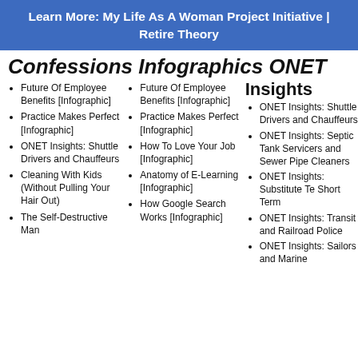Learn More: My Life As A Woman Project Initiative | Retire Theory
Confessions Infographics ONET Insights
Future Of Employee Benefits [Infographic]
Practice Makes Perfect [Infographic]
ONET Insights: Shuttle Drivers and Chauffeurs
Cleaning With Kids (Without Pulling Your Hair Out)
The Self-Destructive Man
Future Of Employee Benefits [Infographic]
Practice Makes Perfect [Infographic]
How To Love Your Job [Infographic]
Anatomy of E-Learning [Infographic]
How Google Search Works [Infographic]
ONET Insights: Shuttle Drivers and Chauffeurs
ONET Insights: Septic Tank Servicers and Sewer Pipe Cleaners
ONET Insights: Substitute Te Short Term
ONET Insights: Transit and Railroad Police
ONET Insights: Sailors and Marine